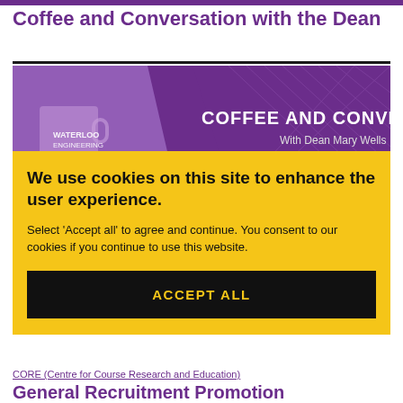Coffee and Conversation with the Dean
[Figure (illustration): Promotional banner for 'Coffee and Conversation with Dean Mary Wells' from Waterloo Engineering. Purple background with a coffee mug on the left and geometric pattern on the right. Bold white text reads 'COFFEE AND CONVERSATION' with 'With Dean Mary Wells' below.]
We use cookies on this site to enhance the user experience.
Select 'Accept all' to agree and continue. You consent to our cookies if you continue to use this website.
ACCEPT ALL
CORE (Centre for Course Research and Education)
General Recruitment Promotion